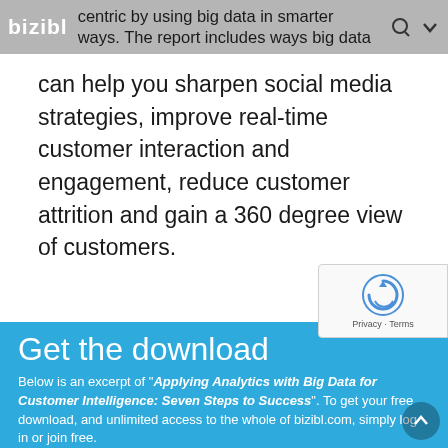bizibl | centric by using big data in smarter ways. The report includes ways big data
can help you sharpen social media strategies, improve real-time customer interaction and engagement, reduce customer attrition and gain a 360 degree view of customers.
[Figure (logo): reCAPTCHA badge with circular arrow icon and Privacy · Terms text]
Get the download
Below is an excerpt of "Applying Analytics with Big Data for Customer Intelligence: Seven Steps to Success". To get your free download, and unlimited access to the whole of bizibl.com, simply log in or join free.